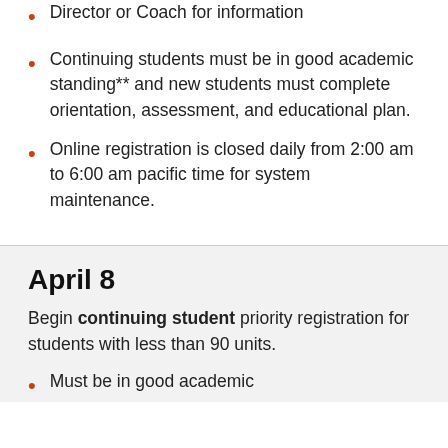Director or Coach for information
Continuing students must be in good academic standing** and new students must complete orientation, assessment, and educational plan.
Online registration is closed daily from 2:00 am to 6:00 am pacific time for system maintenance.
April 8
Begin continuing student priority registration for students with less than 90 units.
Must be in good academic